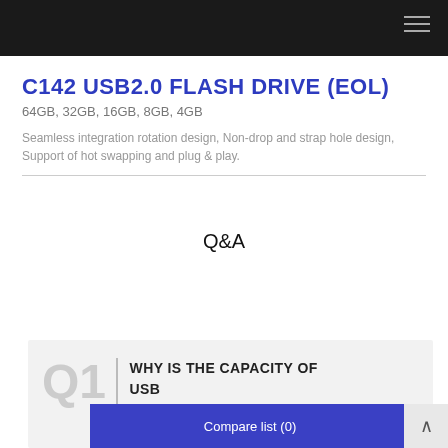C142 USB2.0 FLASH DRIVE (EOL)
64GB, 32GB, 16GB, 8GB, 4GB
Seamless integration rotation design, Non-drop and strap hole design, Support of hot swapping and plug & play.
Q&A
Q1 | WHY IS THE CAPACITY OF USB...THE...